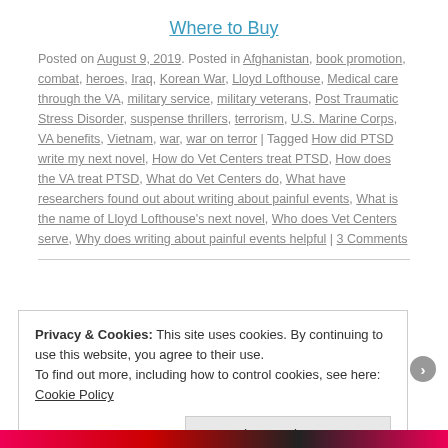Where to Buy
Posted on August 9, 2019. Posted in Afghanistan, book promotion, combat, heroes, Iraq, Korean War, Lloyd Lofthouse, Medical care through the VA, military service, military veterans, Post Traumatic Stress Disorder, suspense thrillers, terrorism, U.S. Marine Corps, VA benefits, Vietnam, war, war on terror | Tagged How did PTSD write my next novel, How do Vet Centers treat PTSD, How does the VA treat PTSD, What do Vet Centers do, What have researchers found out about writing about painful events, What is the name of Lloyd Lofthouse's next novel, Who does Vet Centers serve, Why does writing about painful events helpful | 3 Comments
Privacy & Cookies: This site uses cookies. By continuing to use this website, you agree to their use.
To find out more, including how to control cookies, see here: Cookie Policy
Close and accept